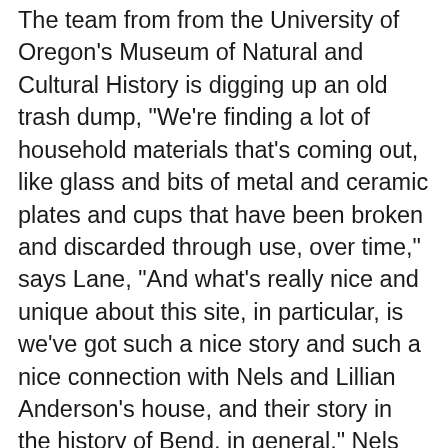The team from from the University of Oregon's Museum of Natural and Cultural History is digging up an old trash dump, "We're finding a lot of household materials that's coming out, like glass and bits of metal and ceramic plates and cups that have been broken and discarded through use, over time," says Lane, "And what's really nice and unique about this site, in particular, is we've got such a nice story and such a nice connection with Nels and Lillian Anderson's house, and their story in the history of Bend, in general." Nels and Lillian Anderson operated one of the area's first dairy farms on 800 acres. The house was built in 1930, but the patent on the property dates back to the teens. Lane says, "It coincides quite nicely with the construction of the Swalley Canal, which is just adjacent to our site. In the past, it was an open canal that ran right next to the property. They were probably dumping their trash right next to the canal. And then, another 20 or 30